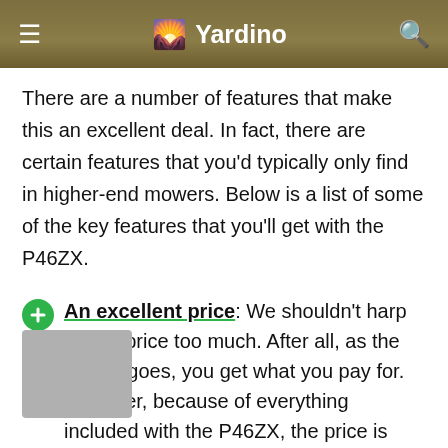Yardino
There are a number of features that make this an excellent deal. In fact, there are certain features that you'd typically only find in higher-end mowers. Below is a list of some of the key features that you'll get with the P46ZX.
An excellent price: We shouldn't harp on the price too much. After all, as the saying goes, you get what you pay for. However, because of everything included with the P46ZX, the price is